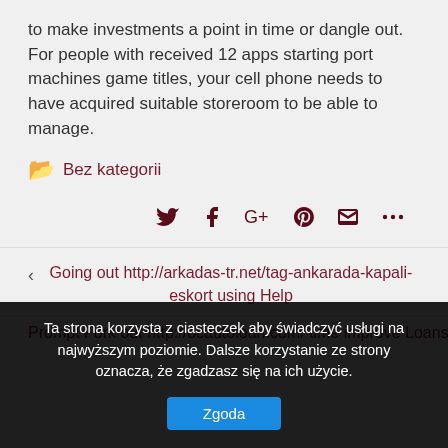to make investments a point in time or dangle out. For people with received 12 apps starting port machines game titles, your cell phone needs to have acquired suitable storeroom to be able to manage.
Bez kategorii
[Figure (other): Social share icons: Twitter, Facebook, Google+, Pinterest, Email, More (...)]
Going out http://arkadas-tr.net/tag-ankarada-kapali-eskort using Help
Prompt Fork out http://ocautoloan.com/ time improve Loans
Ta strona korzysta z ciasteczek aby świadczyć usługi na najwyższym poziomie. Dalsze korzystanie ze strony oznacza, że zgadzasz się na ich użycie.